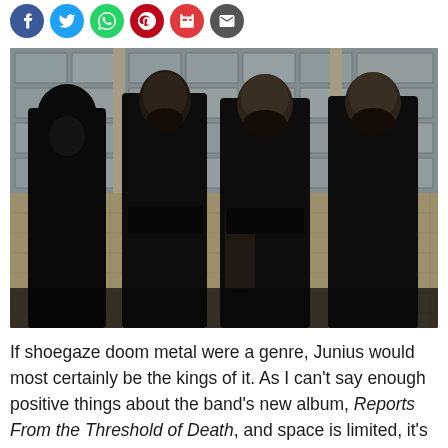[Figure (other): Social media sharing icons: Facebook (blue), Twitter (light blue), WhatsApp (green), Pinterest (red), Flipboard (red), Email (dark grey)]
[Figure (photo): Four men dressed in black standing against a wall made of glass blocks and white tiles. They appear to be members of the band Junius.]
If shoegaze doom metal were a genre, Junius would most certainly be the kings of it. As I can't say enough positive things about the band's new album, Reports From the Threshold of Death, and space is limited, it's probably just best to let the music do the talking. You